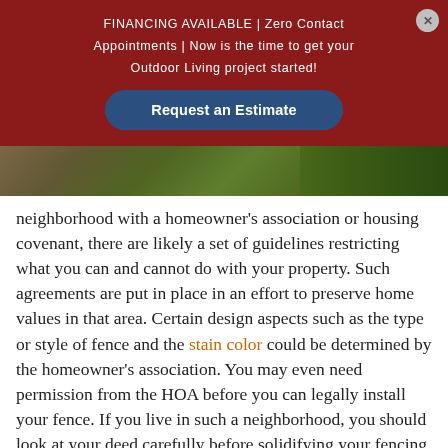FINANCING AVAILABLE | Zero Contact Appointments | Now is the time to get your Outdoor Living project started!
[Figure (photo): Partial outdoor landscape photo showing green grass and foliage]
neighborhood with a homeowner's association or housing covenant, there are likely a set of guidelines restricting what you can and cannot do with your property. Such agreements are put in place in an effort to preserve home values in that area. Certain design aspects such as the type or style of fence and the stain color could be determined by the homeowner's association. You may even need permission from the HOA before you can legally install your fence. If you live in such a neighborhood, you should look at your deed carefully before solidifying your fencing plans and starting construction.